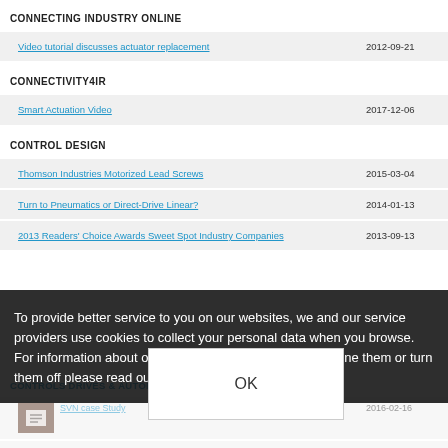CONNECTING INDUSTRY ONLINE
Video tutorial discusses actuator replacement
CONNECTIVITY4IR
Smart Actuation Video
CONTROL DESIGN
Thomson Industries Motorized Lead Screws
Turn to Pneumatics or Direct-Drive Linear?
2013 Readers' Choice Awards Sweet Spot Industry Companies
To provide better service to you on our websites, we and our service providers use cookies to collect your personal data when you browse. For information about our use of cookies and how to decline them or turn them off please read our cookie policy [available here].
CONTROLS DRIVES & AUTOMATION
SVN Case Study
... heavy actuator
light best quality